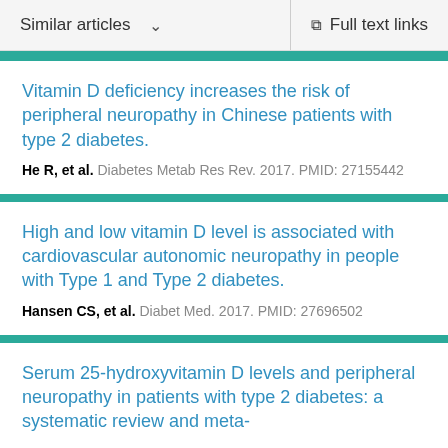Similar articles   ∨      Full text links
Vitamin D deficiency increases the risk of peripheral neuropathy in Chinese patients with type 2 diabetes.
He R, et al. Diabetes Metab Res Rev. 2017. PMID: 27155442
High and low vitamin D level is associated with cardiovascular autonomic neuropathy in people with Type 1 and Type 2 diabetes.
Hansen CS, et al. Diabet Med. 2017. PMID: 27696502
Serum 25-hydroxyvitamin D levels and peripheral neuropathy in patients with type 2 diabetes: a systematic review and meta-